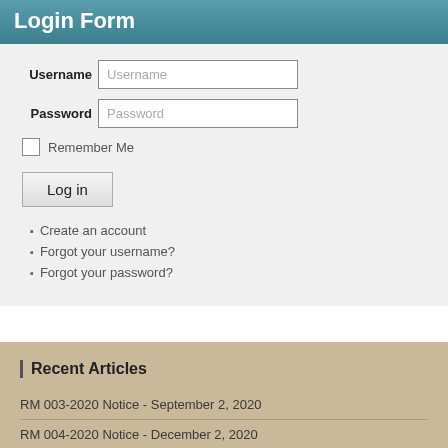Login Form
Username
Password
Remember Me
Log in
Create an account
Forgot your username?
Forgot your password?
Recent Articles
RM 003-2020 Notice - September 2, 2020
RM 004-2020 Notice - December 2, 2020
IQRF Reports